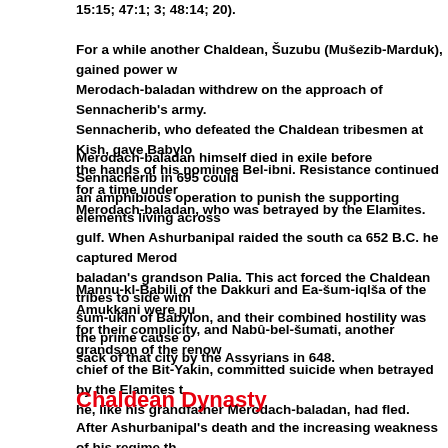15:15; 47:1; 3; 48:14; 20).
For a while another Chaldean, Šuzubu (Mušezib-Marduk), gained power w Merodach-baladan withdrew on the approach of Sennacherib's army. Sennacherib, who defeated the Chaldean tribesmen at Kish, gave Babylo the hands of his nominee Bel-ibni. Resistance continued for a time under Merodach-baladan, who was betrayed by the Elamites.
Merodach-baladan himself died in exile before Sennacherib in 695 could an amphibious operation to punish the supporting elements living across gulf. When Ashurbanipal raided the south ca 652 B.C. he captured Merod baladan's grandson Palia. This act forced the Chaldean tribes to side with šum-ukln of Babylon, and their combined hostility was the prime cause o sack of that city by the Assyrians in 648.
Mannu-kl-Babili of the Dakkuri and Ea-šum-iqlša of the Amukkani were pu for their complicity, and Nabû-bel-šumati, another grandson of the renow chief of the Bit-Yakin, committed suicide when betrayed by the Elamites t he, like his grandfather Merodach-baladan, had fled.
Chaldean Dynasty
After Ashurbanipal's death and the increasing weakness of his regime th Chaldeans rose in revolt and recaptured Babylon, putting their leader Nabopolassar on the throne there in 627. He inaugurated a period of rema